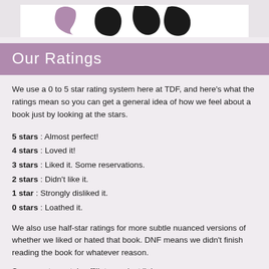[Figure (illustration): Partial view of a logo with purple and black decorative swoosh/letter shapes on white background]
Our Ratings
We use a 0 to 5 star rating system here at TDF, and here's what the ratings mean so you can get a general idea of how we feel about a book just by looking at the stars.
5 stars : Almost perfect!
4 stars : Loved it!
3 stars : Liked it. Some reservations.
2 stars : Didn't like it.
1 star : Strongly disliked it.
0 stars : Loathed it.
We also use half-star ratings for more subtle nuanced versions of whether we liked or hated that book. DNF means we didn't finish reading the book for whatever reason.
Some posts contain affiliate product links...